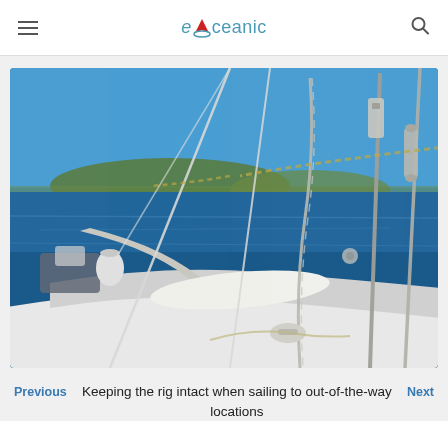eOceanic
[Figure (photo): View from the deck of a sailing yacht showing rigging, stays, shrouds and chainplates in the foreground with deep blue sea and green hills in the background under a clear blue sky.]
Keeping the rig intact when sailing to out-of-the-way locations